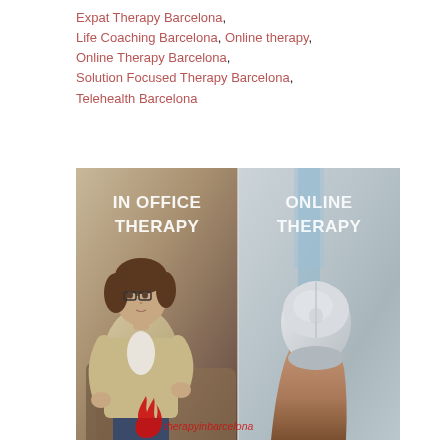Expat Therapy Barcelona, Life Coaching Barcelona, Online therapy, Online Therapy Barcelona, Solution Focused Therapy Barcelona, Telehealth Barcelona
[Figure (photo): Split image showing two panels side by side: left panel with 'IN OFFICE THERAPY' text over a photo of a woman therapist with glasses sitting in a beige blazer, and right panel with 'ONLINE THERAPY' text over a photo of a hand holding an Apple Magic Mouse. A red flame logo and 'therapyinbarcelona' watermark appear at the bottom.]